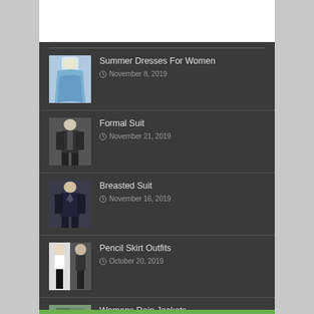[Figure (photo): White header area at top of page]
Summer Dresses For Women
November 8, 2019
Formal Suit
November 21, 2019
Breasted Suit
November 16, 2019
Pencil Skirt Outfits
October 20, 2019
Womens Rain Jackets